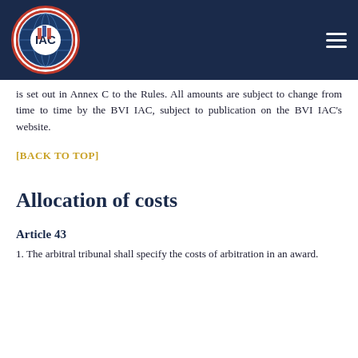[Figure (logo): IAC International Arbitration Centre British Virgin Islands circular logo with globe and flag motif, white on dark navy header bar with hamburger menu icon]
is set out in Annex C to the Rules. All amounts are subject to change from time to time by the BVI IAC, subject to publication on the BVI IAC's website.
[BACK TO TOP]
Allocation of costs
Article 43
1. The arbitral tribunal shall specify the costs of arbitration in an award.